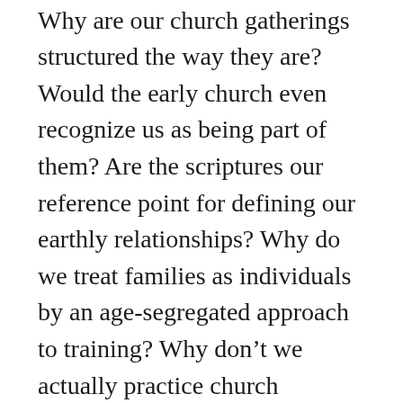should be instead of the Bible?  Why are our church gatherings structured the way they are?  Would the early church even recognize us as being part of them? Are the scriptures our reference point for defining our earthly relationships?  Why do we treat families as individuals by an age-segregated approach to training?  Why don't we actually practice church discipline as instructed directly by our Lord in Matt 18 and elsewhere?  Why aren't the “one another’s” or “hospitality commands” of Scripture emphasized or practiced as central to body life?  Who is really responsible for the care of our